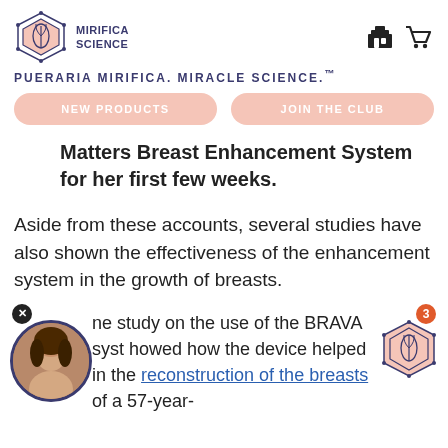MIRIFICA SCIENCE
PUERARIA MIRIFICA. MIRACLE SCIENCE.™
NEW PRODUCTS
JOIN THE CLUB
Matters Breast Enhancement System for her first few weeks.
Aside from these accounts, several studies have also shown the effectiveness of the enhancement system in the growth of breasts.
ne study on the use of the BRAVA syst howed how the device helped in the reconstruction of the breasts of a 57-year-